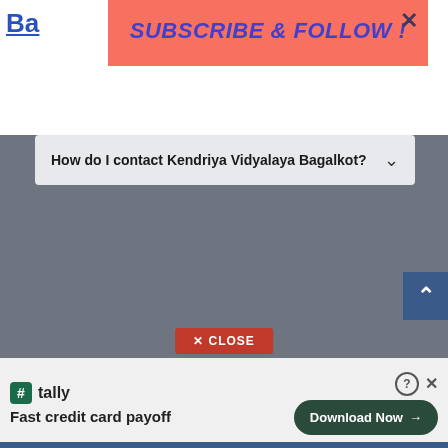Ba
SUBSCRIBE & FOLLOW !
How do I contact Kendriya Vidyalaya Bagalkot?
[Figure (screenshot): Gray content area with no visible content]
✕ CLOSE
tally Fast credit card payoff
Download Now →